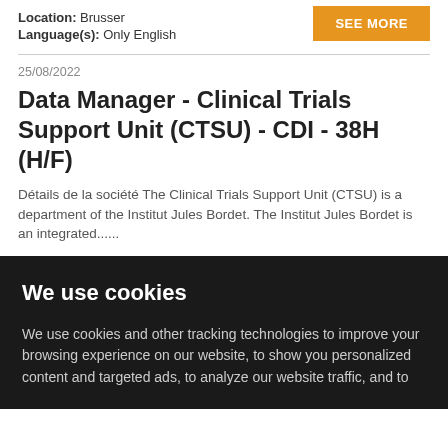Location: Brusser
Language(s): Only English
SEE MORE
25/08/2022
Data Manager - Clinical Trials Support Unit (CTSU) - CDI - 38H (H/F)
Détails de la société The Clinical Trials Support Unit (CTSU) is a department of the Institut Jules Bordet. The Institut Jules Bordet is an integrated......
We use cookies
We use cookies and other tracking technologies to improve your browsing experience on our website, to show you personalized content and targeted ads, to analyze our website traffic, and to